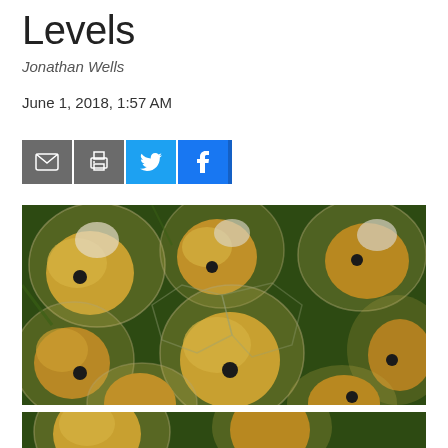Levels
Jonathan Wells
June 1, 2018, 1:57 AM
[Figure (other): Social sharing buttons: email, print, Twitter, Facebook]
[Figure (photo): Close-up photograph of fish eggs or frog eggs showing yellow embryos inside transparent spherical membranes, multiple embryos visible with dark eyes]
[Figure (photo): Bottom portion of a similar close-up photograph of fish/frog eggs, partially visible at bottom of page]